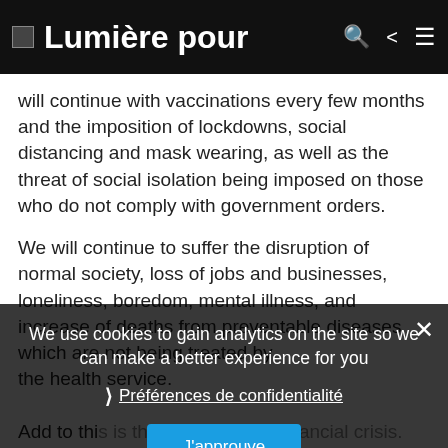Lumière pour
will continue with vaccinations every few months and the imposition of lockdowns, social distancing and mask wearing, as well as the threat of social isolation being imposed on those who do not comply with government orders.
We will continue to suffer the disruption of normal society, loss of jobs and businesses, loneliness, boredom, mental illness, and increase of deaths from preventable diseases which are not being treated by the health service.
Add to this is the prospect of a financial crisis. States and central banks have thrown almost $20 trillion into the worldwide monetary system to pay for the crisis. Most of this money was created artificially, which means that a financial crisis with inflation and the
We use cookies to gain analytics on the site so we can make a better experience for you
Préférences de confidentialité
J'approuve